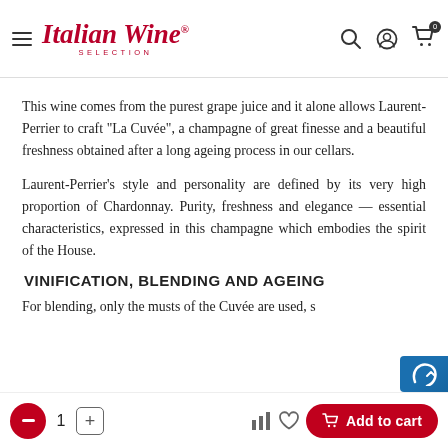Italian Wine Selection
This wine comes from the purest grape juice and it alone allows Laurent-Perrier to craft "La Cuvée", a champagne of great finesse and a beautiful freshness obtained after a long ageing process in our cellars.
Laurent-Perrier's style and personality are defined by its very high proportion of Chardonnay. Purity, freshness and elegance — essential characteristics, expressed in this champagne which embodies the spirit of the House.
VINIFICATION, BLENDING AND AGEING
For blending, only the musts of the Cuvée are used, s...